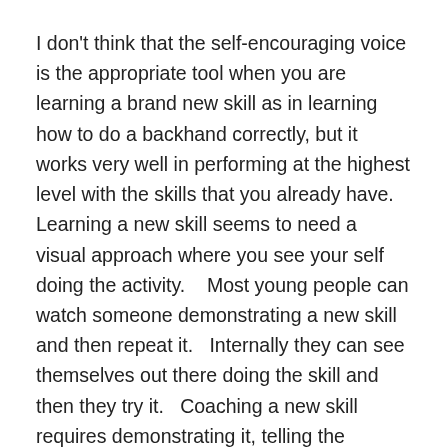I don't think that the self-encouraging voice is the appropriate tool when you are learning a brand new skill as in learning how to do a backhand correctly, but it works very well in performing at the highest level with the skills that you already have.    Learning a new skill seems to need a visual approach where you see your self doing the activity.    Most young people can watch someone demonstrating a new skill and then repeat it.   Internally they can see themselves out there doing the skill and then they try it.   Coaching a new skill requires demonstrating it, telling the students when they are performing it correctly, and then helping them to see how to improve.  It is largely visual.
When the skill has been taught and practiced,  the performance of it outside of practice in real games is